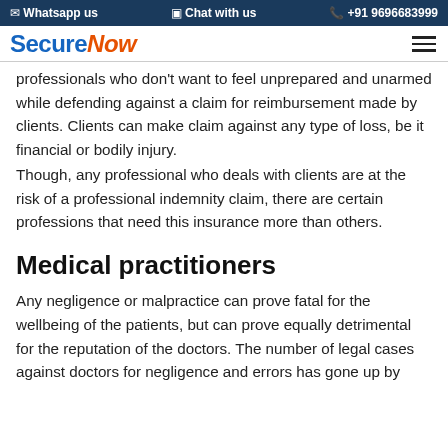Whatsapp us   Chat with us   +91 9696683999
[Figure (logo): SecureNow logo with blue 'Secure' and orange italic 'Now' text]
professionals who don't want to feel unprepared and unarmed while defending against a claim for reimbursement made by clients. Clients can make claim against any type of loss, be it financial or bodily injury.
Though, any professional who deals with clients are at the risk of a professional indemnity claim, there are certain professions that need this insurance more than others.
Medical practitioners
Any negligence or malpractice can prove fatal for the wellbeing of the patients, but can prove equally detrimental for the reputation of the doctors. The number of legal cases against doctors for negligence and errors has gone up by